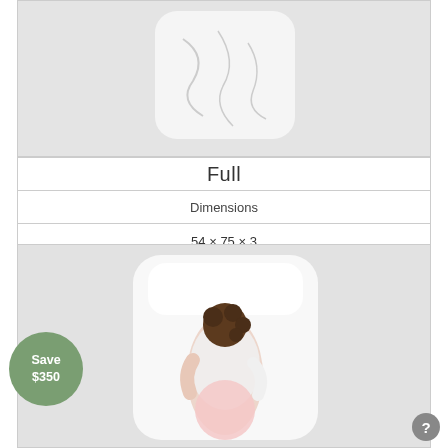[Figure (photo): Top-down view of a white mattress on grey background with label 'Full']
Full
| Dimensions |
| --- |
| 54 × 75 × 3 |
[Figure (photo): Top-down view of a person sleeping on a white mattress on grey background]
Save $350